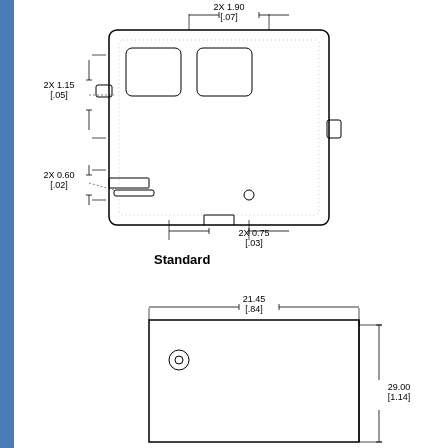[Figure (engineering-diagram): Top view engineering drawing of a component labeled Standard. Shows a rectangular part with cutouts and curved corners. Dimension annotations: 2X 1.90 [.07] (top width), 2X 1.15 [.05] (left upper height), 2X 0.60 [.02] (left lower height), 2X 0.75 [.03] (bottom).]
[Figure (engineering-diagram): Side/front view engineering drawing showing a rectangular profile. Dimension annotations: 21.45 [.84] (top width), 29.00 [1.14] (right side height). A small concentric circle symbol is shown on the left side of the component.]